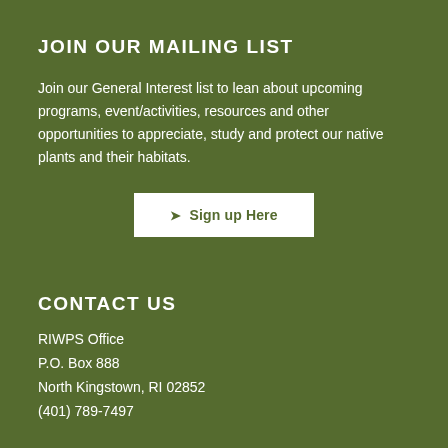JOIN OUR MAILING LIST
Join our General Interest list to lean about upcoming programs, event/activities, resources and other opportunities to appreciate, study and protect our native plants and their habitats.
[Figure (other): White button with send/paper-plane icon and text 'Sign up Here']
CONTACT US
RIWPS Office
P.O. Box 888
North Kingstown, RI 02852
(401) 789-7497